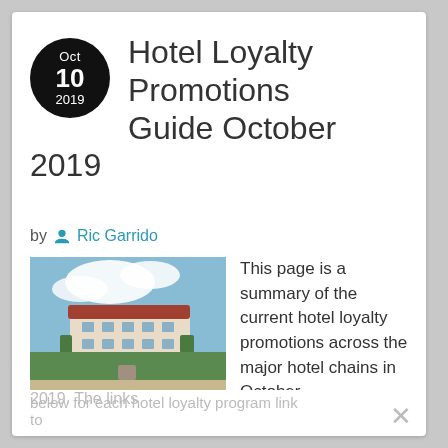Hotel Loyalty Promotions Guide October 2019
by Ric Garrido
[Figure (photo): Hotel building with fountain in foreground, blue sky with clouds]
This page is a summary of the current hotel loyalty promotions across the major hotel chains in October 2019. The links below for each hotel loyalty program link to